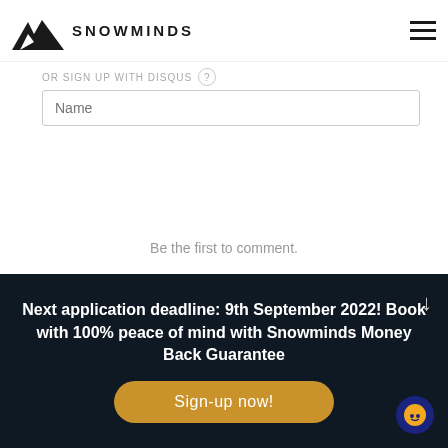[Figure (logo): Snowminds logo with mountain icon and wordmark SNOWMINDS, hamburger menu icon on right]
OR SIGN UP WITH DISQUS
Name
Be the first to comment.
Subscribe  Do Not Sell My Data  DISQUS
Next application deadline: 9th September 2022! Book with 100% peace of mind with Snowminds Money Back Guarantee
Sign-up now!